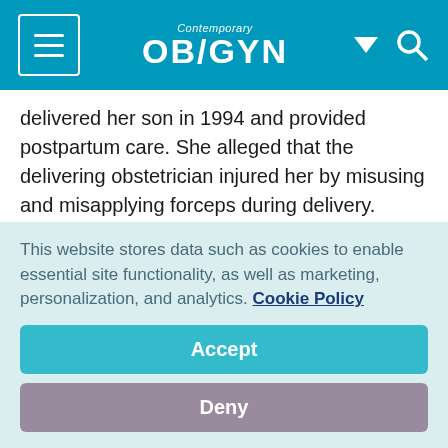Contemporary OB/GYN
delivered her son in 1994 and provided postpartum care. She alleged that the delivering obstetrician injured her by misusing and misapplying forceps during delivery. When the woman experienced severe pain the day after delivery, one of the physicians told her the swelling and bruising were fairly normal.
For several years after the delivery, the patient was seen by various doctors, who diagnosed and treated her for pudendal
This website stores data such as cookies to enable essential site functionality, as well as marketing, personalization, and analytics. Cookie Policy
Accept
Deny